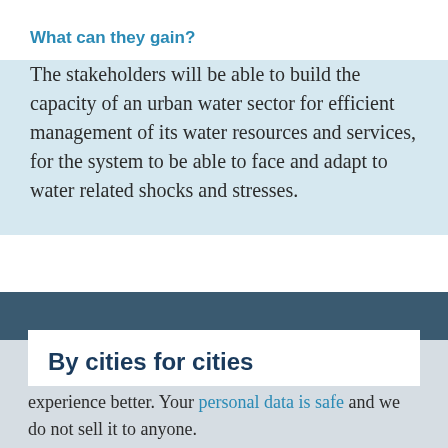What can they gain?
The stakeholders will be able to build the capacity of an urban water sector for efficient management of its water resources and services, for the system to be able to face and adapt to water related shocks and stresses.
By cities for cities
We use cookies on our website to make your experience better. Your personal data is safe and we do not sell it to anyone.